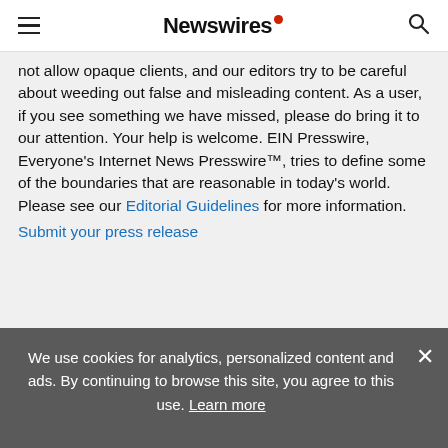Newswires
not allow opaque clients, and our editors try to be careful about weeding out false and misleading content. As a user, if you see something we have missed, please do bring it to our attention. Your help is welcome. EIN Presswire, Everyone's Internet News Presswire™, tries to define some of the boundaries that are reasonable in today's world. Please see our Editorial Guidelines for more information.
Submit your press release
Contact
Rick Louis
We use cookies for analytics, personalized content and ads. By continuing to browse this site, you agree to this use. Learn more